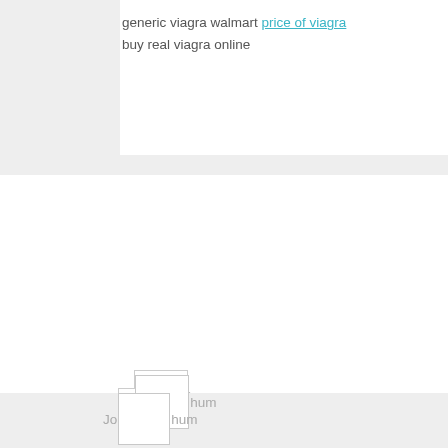generic viagra walmart price of viagra
buy real viagra online
[Figure (other): User avatar placeholder box with partial username 'Jo...hum']
viagra over the counter walmart best place to buy ge...
when will viagra be generic
[Figure (other): User avatar placeholder box with partial username 'Jo...hum' at bottom of page]